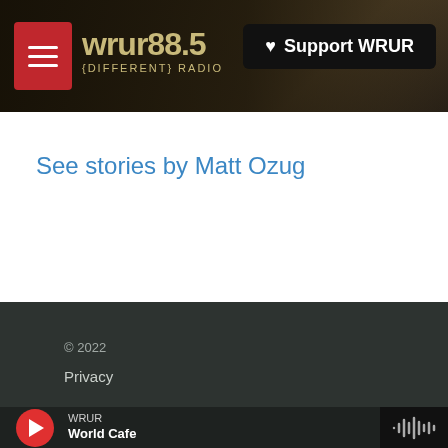WRUR 88.5 {DIFFERENT} RADIO — Support WRUR
See stories by Matt Ozug
© 2022
Privacy
WRUR — World Cafe